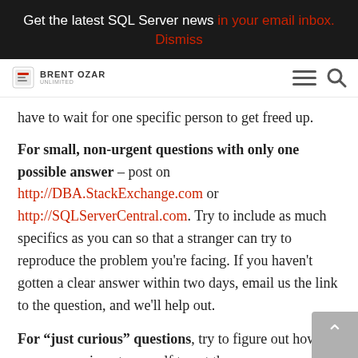Get the latest SQL Server news in your email inbox. Dismiss
[Figure (logo): Brent Ozar Unlimited logo with hamburger menu and search icon]
have to wait for one specific person to get freed up.
For small, non-urgent questions with only one possible answer – post on http://DBA.StackExchange.com or http://SQLServerCentral.com. Try to include as much specifics as you can so that a stranger can try to reproduce the problem you're facing. If you haven't gotten a clear answer within two days, email us the link to the question, and we'll help out.
For “just curious” questions, try to figure out how to run an experiment yourself to get the answer.